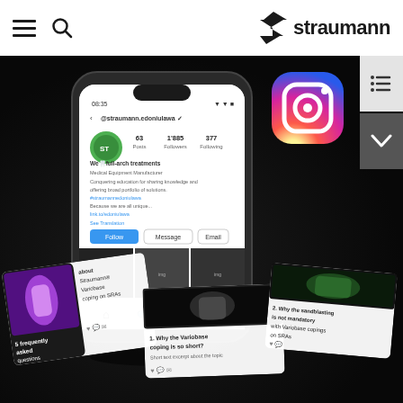Straumann website header with hamburger menu, search icon, and Straumann logo
[Figure (screenshot): Straumann social media marketing screenshot showing a smartphone displaying the Straumann Instagram profile (@straumann.edoniulawa) with 63 Posts, 1,885 Followers, 377 Following. The profile shows dental implant content. Around the phone are floating Instagram post cards including '5 frequently asked questions about Straumann® Variobase coping on SRAs', '1. Why the Variobase coping is so short?', and '2. Why the sandblasting is not mandatory with Variobase copings on SRAs'. An Instagram logo (gradient pink/purple/orange) floats in the upper right area. The background is dark/black.]